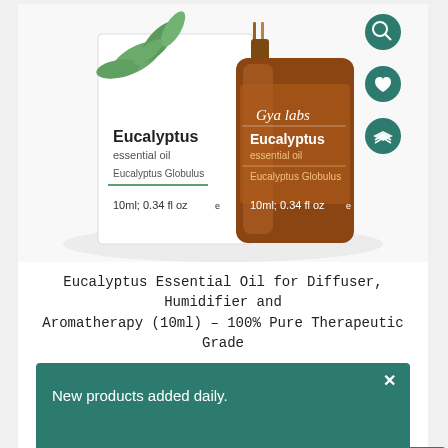[Figure (photo): Product photo of Gya Labs Eucalyptus Essential Oil (10ml; 0.34 fl oz) showing a dark amber glass bottle next to a white product box, with green eucalyptus leaves in the background. Three teal circular icon buttons (search, heart/favorite, layers) are visible on the right side.]
Eucalyptus Essential Oil for Diffuser, Humidifier and Aromatherapy (10ml) – 100% Pure Therapeutic Grade
New products added daily.